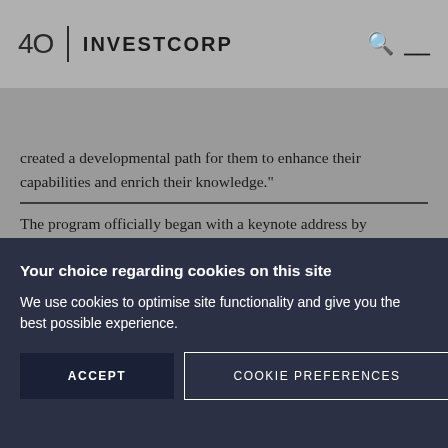40 | INVESTCORP
created a developmental path for them to enhance their capabilities and enrich their knowledge."
The program officially began with a keynote address by Mohammed Al Ardhi, Executive Chairman of Investcorp, who spoke about the
Your choice regarding cookies on this site
We use cookies to optimise site functionality and give you the best possible experience.
ACCEPT
COOKIE PREFERENCES
×